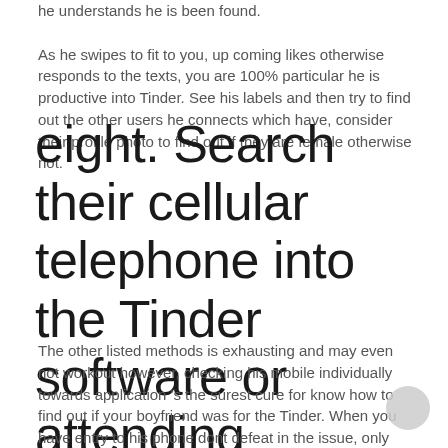he understands he is been found. As he swipes to fit to you, up coming likes otherwise responds to the texts, you are 100% particular he is productive into Tinder. See his labels and then try to find out the other users he connects which have, consider their profile photo to find out if they are female otherwise not.
eight. Search their cellular telephone into the Tinder software or attending background
The other listed methods is exhausting and may even not workout however, checking his mobile individually towards application 's the surest cure for know how to find out if your boyfriend was for the Tinder. When you have entry to his phone dont defeat in the issue, only check if their Tinder app is still there. If it is not, your suspicions had been unfounded and you will get to be more comfortable.